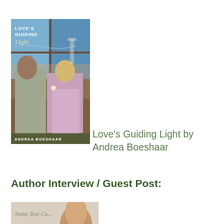[Figure (illustration): Book cover of 'Love's Guiding Light' by Andrea Boeshaar, showing a romantic historical couple — a man in gray and a woman in a pink/lavender dress — standing near a window with a lighthouse scene in the background.]
Love's Guiding Light by Andrea Boeshaar
Author Interview / Guest Post:
[Figure (photo): Partial view of an author photo, cropped at the bottom of the page.]